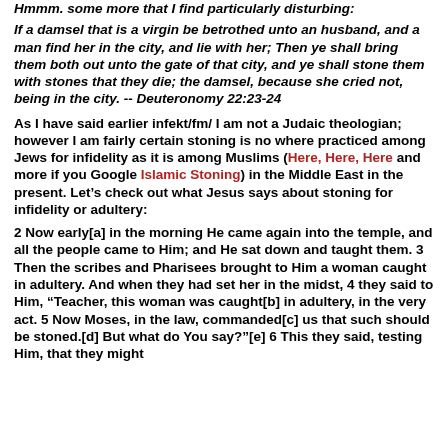Hmmm. some more that I find particularly disturbing:
If a damsel that is a virgin be betrothed unto an husband, and a man find her in the city, and lie with her; Then ye shall bring them both out unto the gate of that city, and ye shall stone them with stones that they die; the damsel, because she cried not, being in the city. -- Deuteronomy 22:23-24
As I have said earlier infekt/fm/ I am not a Judaic theologian; however I am fairly certain stoning is no where practiced among Jews for infidelity as it is among Muslims (Here, Here, Here and more if you Google Islamic Stoning) in the Middle East in the present. Let’s check out what Jesus says about stoning for infidelity or adultery:
2 Now early[a] in the morning He came again into the temple, and all the people came to Him; and He sat down and taught them. 3 Then the scribes and Pharisees brought to Him a woman caught in adultery. And when they had set her in the midst, 4 they said to Him, “Teacher, this woman was caught[b] in adultery, in the very act. 5 Now Moses, in the law, commanded[c] us that such should be stoned.[d] But what do You say?”[e] 6 This they said, testing Him, that they might